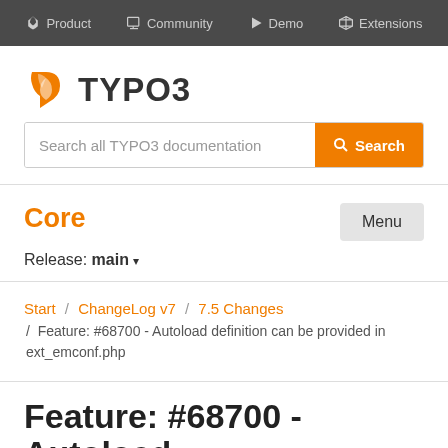Product  Community  Demo  Extensions
[Figure (logo): TYPO3 logo with orange wing icon and bold TYPO3 text]
Search all TYPO3 documentation  Search
Core
Release: main ▾
Start / ChangeLog v7 / 7.5 Changes / Feature: #68700 - Autoload definition can be provided in ext_emconf.php
Feature: #68700 - Autoload